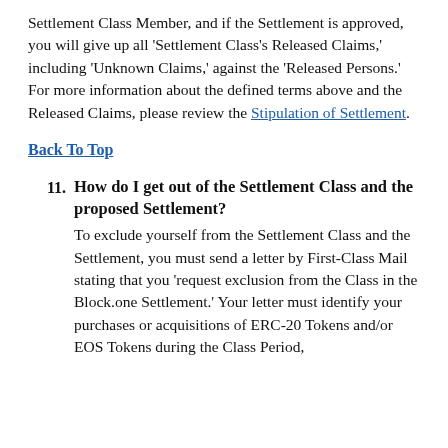Settlement Class Member, and if the Settlement is approved, you will give up all 'Settlement Class's Released Claims,' including 'Unknown Claims,' against the 'Released Persons.' For more information about the defined terms above and the Released Claims, please review the Stipulation of Settlement.
Back To Top
11. How do I get out of the Settlement Class and the proposed Settlement?
To exclude yourself from the Settlement Class and the Settlement, you must send a letter by First-Class Mail stating that you 'request exclusion from the Class in the Block.one Settlement.' Your letter must identify your purchases or acquisitions of ERC-20 Tokens and/or EOS Tokens during the Class Period,